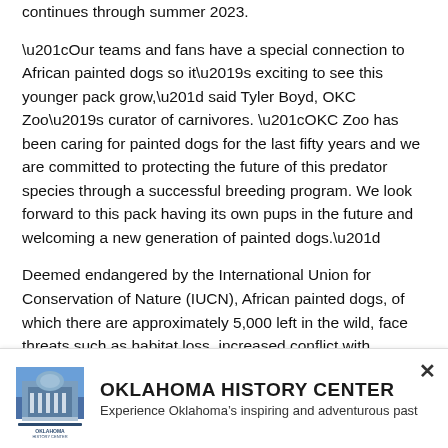continues through summer 2023.
“Our teams and fans have a special connection to African painted dogs so it’s exciting to see this younger pack grow,” said Tyler Boyd, OKC Zoo’s curator of carnivores. “OKC Zoo has been caring for painted dogs for the last fifty years and we are committed to protecting the future of this predator species through a successful breeding program. We look forward to this pack having its own pups in the future and welcoming a new generation of painted dogs.”
Deemed endangered by the International Union for Conservation of Nature (IUCN), African painted dogs, of which there are approximately 5,000 left in the wild, face threats such as habitat loss, increased conflict with humans and diseases such
[Figure (logo): Oklahoma History Center logo — building illustration with text OKLAHOMA HISTORY CENTER below]
OKLAHOMA HISTORY CENTER
Experience Oklahoma’s inspiring and adventurous past